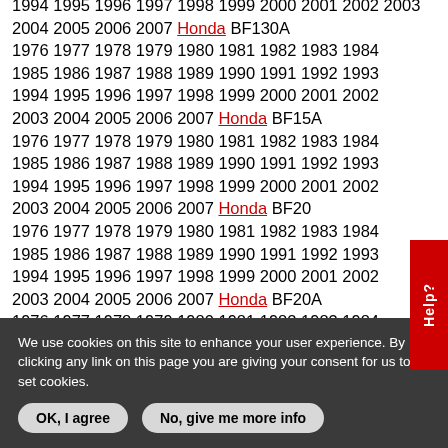1994 1995 1996 1997 1998 1999 2000 2001 2002 2003 2004 2005 2006 2007 Honda BF130A 1976 1977 1978 1979 1980 1981 1982 1983 1984 1985 1986 1987 1988 1989 1990 1991 1992 1993 1994 1995 1996 1997 1998 1999 2000 2001 2002 2003 2004 2005 2006 2007 Honda BF15A 1976 1977 1978 1979 1980 1981 1982 1983 1984 1985 1986 1987 1988 1989 1990 1991 1992 1993 1994 1995 1996 1997 1998 1999 2000 2001 2002 2003 2004 2005 2006 2007 Honda BF20 1976 1977 1978 1979 1980 1981 1982 1983 1984 1985 1986 1987 1988 1989 1990 1991 1992 1993 1994 1995 1996 1997 1998 1999 2000 2001 2002 2003 2004 2005 2006 2007 Honda BF20A 1976 1977 1978 1979 1980 1981 1982 1983 1984 1985 1986 1987 1988 1989 1990 1991 1992 1993 1994 1995 1996 1997 1998 1999 2000 2001 2002 2003 2004 2005 2006 2007 Honda BF25A 1976 1977 1978 1979 1980 1981 1982 1983 1984
We use cookies on this site to enhance your user experience. By clicking any link on this page you are giving your consent for us to set cookies.